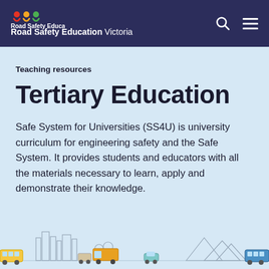Road Safety Education Victoria
Teaching resources
Tertiary Education
Safe System for Universities (SS4U) is university curriculum for engineering safety and the Safe System. It provides students and educators with all the materials necessary to learn, apply and demonstrate their knowledge.
[Figure (illustration): Illustrated cityscape and road scene with vehicles including buses, trucks, and cars along a road with buildings and mountains in the background]